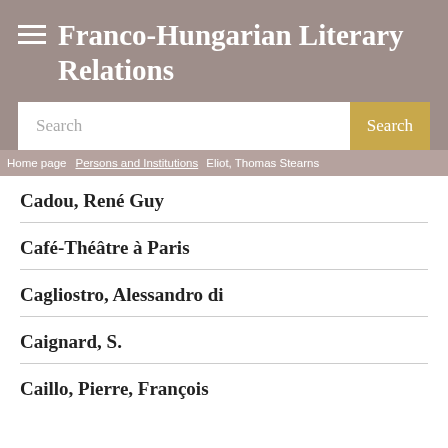Franco-Hungarian Literary Relations
Search
Home page | Persons and Institutions | Eliot, Thomas Stearns
Cadou, René Guy
Café-Théâtre à Paris
Cagliostro, Alessandro di
Caignard, S.
Caillo, Pierre, François